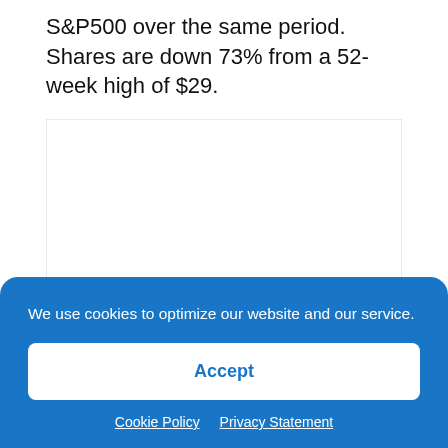S&P500 over the same period. Shares are down 73% from a 52-week high of $29.
[Figure (other): Chart placeholder area showing a financial chart (partially visible, mostly blank white area with light border)]
Source: Boardroom Alpha
Diminished confidence on PLTR's 20%
We use cookies to optimize our website and our service.
Accept
Cookie Policy   Privacy Statement